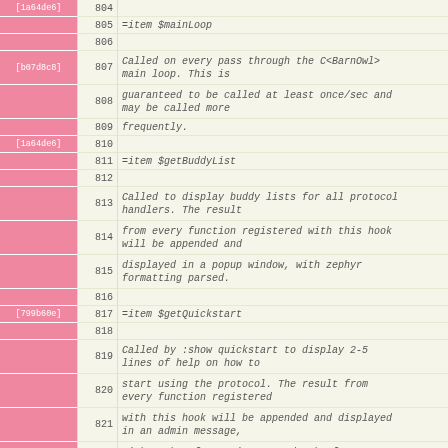Code view showing lines 804-829 with commit hashes, line numbers, and source code content including =item $mainLoop, =item $getBuddyList, =item $getQuickstart, =back, =cut, and use Exporter; entries with associated documentation comments.